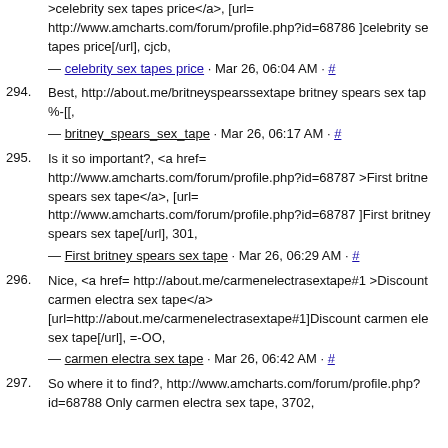>celebrity sex tapes price</a>, [url= http://www.amcharts.com/forum/profile.php?id=68786 ]celebrity se tapes price[/url], cjcb,
— celebrity sex tapes price · Mar 26, 06:04 AM · #
294. Best, http://about.me/britneyspearssextape britney spears sex tap %-[[,
— britney_spears_sex_tape · Mar 26, 06:17 AM · #
295. Is it so important?, <a href= http://www.amcharts.com/forum/profile.php?id=68787 >First britne spears sex tape</a>, [url= http://www.amcharts.com/forum/profile.php?id=68787 ]First britney spears sex tape[/url], 301,
— First britney spears sex tape · Mar 26, 06:29 AM · #
296. Nice, <a href= http://about.me/carmenelectrasextape#1 >Discount carmen electra sex tape</a> [url=http://about.me/carmenelectrasextape#1]Discount carmen ele sex tape[/url], =-OO,
— carmen electra sex tape · Mar 26, 06:42 AM · #
297. So where it to find?, http://www.amcharts.com/forum/profile.php? id=68788 Only carmen electra sex tape, 3702,